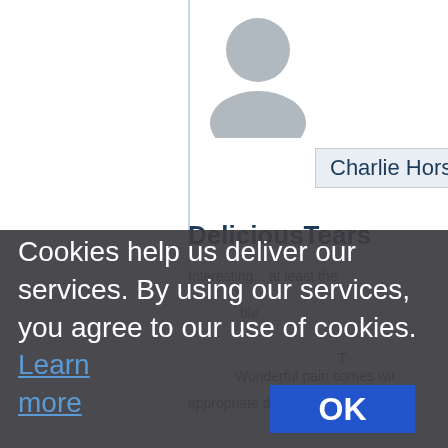[Figure (screenshot): Background web page showing a user profile with avatar silhouette, vertical blue line, name badge reading 'Charlie Horse', username 'DeliciousTears', and partial text content]
Cookies help us deliver our services. By using our services, you agree to our use of cookies. Learn more
OK